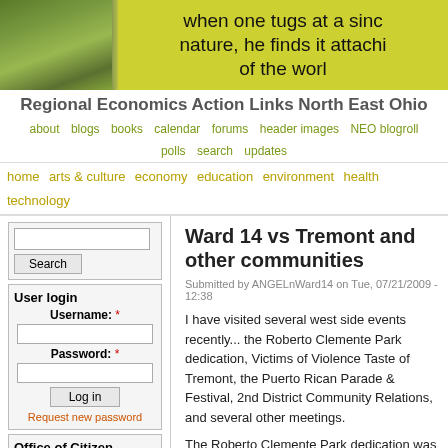[Figure (photo): Website header banner with nature photo on left and yellow/green background with handwritten quote text on right: 'when one tugs at a sing nature, he finds it attachi of the worl']
Regional Economics Action Links North East Ohio
about  blogs  books  calendar  forums  header images  NEO blogroll  polls  search  updates
home  arts & culture  economy  education  environment  health  technology
Search
User login
Username: *
Password: *
Log in
Request new password
Office of Citizen
Rest in Peace,
Ward 14 vs Tremont and other communities
Submitted by ANGELnWard14 on Tue, 07/21/2009 - 12:38
I have visited several west side events recently... the Roberto Clemente Park dedication, Victims of Violence Taste of Tremont, the Puerto Rican Parade & Festival, 2nd District Community Relations, and several other meetings.
The Roberto Clemente Park dedication was years in making, but due to the lack of pubicity-it warranted minimal fan fare and collaboration by the current rec